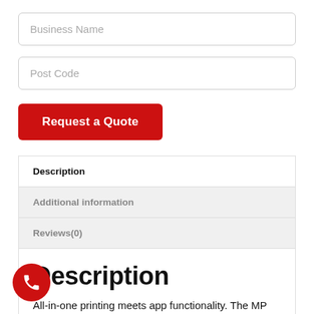Business Name
Post Code
Request a Quote
Description
Additional information
Reviews(0)
Description
All-in-one printing meets app functionality. The MP 6055SP combines fast printing in house with